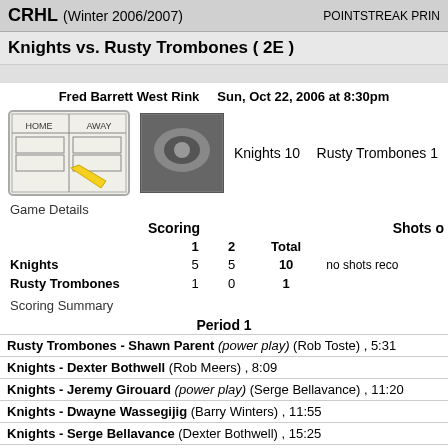CRHL (Winter 2006/2007)   POINTSTREAK PRIN
Knights vs. Rusty Trombones ( 2E )
Fred Barrett West Rink   Sun, Oct 22, 2006 at 8:30pm
Knights 10   Rusty Trombones 1
Game Details
|  | 1 | 2 | Total |  |
| --- | --- | --- | --- | --- |
| Knights | 5 | 5 | 10 | no shots reco... |
| Rusty Trombones | 1 | 0 | 1 |  |
Scoring Summary
Period 1
Rusty Trombones - Shawn Parent (power play) (Rob Toste) , 5:31
Knights - Dexter Bothwell (Rob Meers) , 8:09
Knights - Jeremy Girouard (power play) (Serge Bellavance) , 11:20
Knights - Dwayne Wassegijig (Barry Winters) , 11:55
Knights - Serge Bellavance (Dexter Bothwell) , 15:25
Knights - Serge Bellavance (Dexter Bothwell) , 18:43